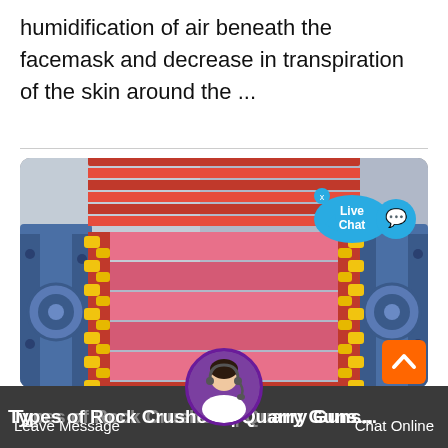humidification of air beneath the facemask and decrease in transpiration of the skin around the ...
[Figure (engineering-diagram): Industrial machine component — appears to be a rock crusher or conveyor system with red/pink layered plates, yellow chain/roller links on both sides, and blue metal frame structures. A 'Live Chat' popup bubble appears in the upper-right corner of the image.]
Types of Rock Crushers | Quarry Guns...
Leave Message
Chat Online